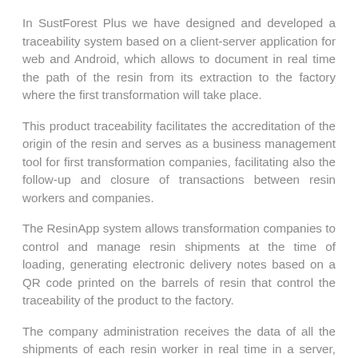In SustForest Plus we have designed and developed a traceability system based on a client-server application for web and Android, which allows to document in real time the path of the resin from its extraction to the factory where the first transformation will take place.
This product traceability facilitates the accreditation of the origin of the resin and serves as a business management tool for first transformation companies, facilitating also the follow-up and closure of transactions between resin workers and companies.
The ResinApp system allows transformation companies to control and manage resin shipments at the time of loading, generating electronic delivery notes based on a QR code printed on the barrels of resin that control the traceability of the product to the factory.
The company administration receives the data of all the shipments of each resin worker in real time in a server, which